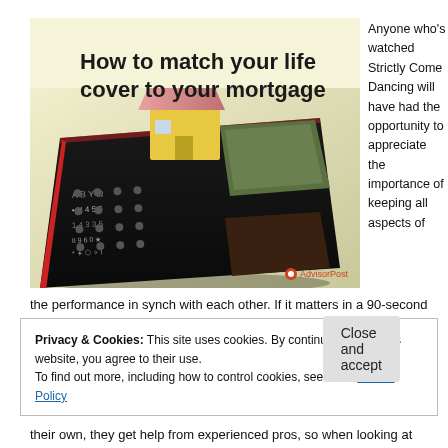[Figure (photo): Calculator with a small house model on top, with a yellow/cream background. Title text overlaid: 'How to match your life cover to your mortgage'. AdvisorPost logo in bottom-right corner.]
Anyone who's watched Strictly Come Dancing will have had the opportunity to appreciate the importance of keeping all aspects of the performance in synch with each other. If it matters in a 90-second
Privacy & Cookies: This site uses cookies. By continuing to use this website, you agree to their use.
To find out more, including how to control cookies, see here: Cookie Policy
their own, they get help from experienced pros, so when looking at